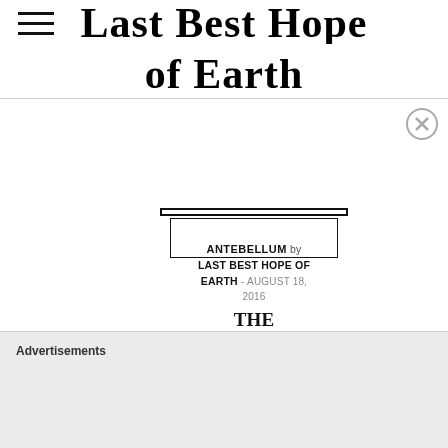Last Best Hope of Earth
ANTEBELLUM by LAST BEST HOPE OF EARTH - AUGUST 18, 2016
THE THEORIES OF SLAVERY
In the 15 years leading up to the Civil War, a wide variety of theories emerged for how the federal government should deal with slavery
Advertisements